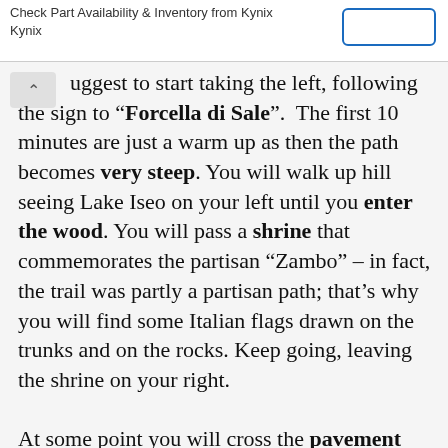Check Part Availability & Inventory from Kynix
Kynix
uggest to start taking the left, following the sign to “Forcella di Sale”. The first 10 minutes are just a warm up as then the path becomes very steep. You will walk up hill seeing Lake Iseo on your left until you enter the wood. You will pass a shrine that commemorates the partisan “Zambo” – in fact, the trail was partly a partisan path; that’s why you will find some Italian flags drawn on the trunks and on the rocks. Keep going, leaving the shrine on your right.

At some point you will cross the pavement road again. Bare in mind that you might encounter a